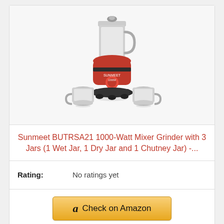[Figure (photo): Red Sunmeet BUTRSA21 mixer grinder with 3 stainless steel jars on white/grey background]
Sunmeet BUTRSA21 1000-Watt Mixer Grinder with 3 Jars (1 Wet Jar, 1 Dry Jar and 1 Chutney Jar) -...
Rating: No ratings yet
Check on Amazon
Bestseller No. 8
[Figure (photo): Partial image of next product (mixer grinder) at bottom]